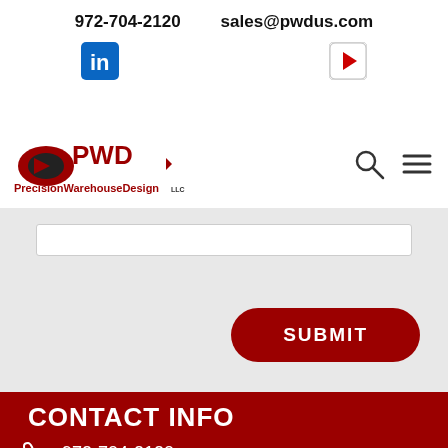972-704-2120   sales@pwdus.com
[Figure (logo): LinkedIn logo icon (blue/white square with 'in')]
[Figure (logo): YouTube logo icon (red/white square with play button)]
[Figure (logo): PrecisionWarehouseDesign LLC logo with PWD icon and text]
[Figure (other): Search icon (magnifying glass)]
[Figure (other): Hamburger menu icon (three horizontal lines)]
SUBMIT
CONTACT INFO
972-704-2120